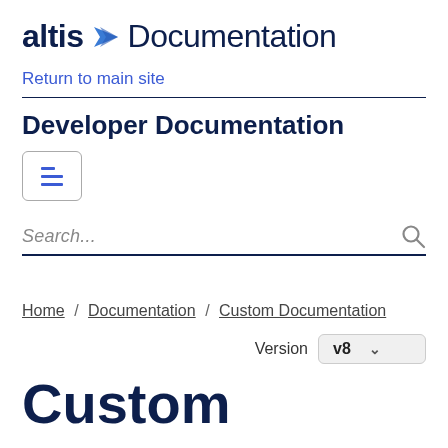[Figure (logo): Altis logo with blue arrow icon followed by 'altis' text and 'Documentation' text in dark navy]
Return to main site
Developer Documentation
[Figure (other): Table of contents toggle button icon with blue horizontal lines]
Search...
Home / Documentation / Custom Documentation
Version v8
Custom